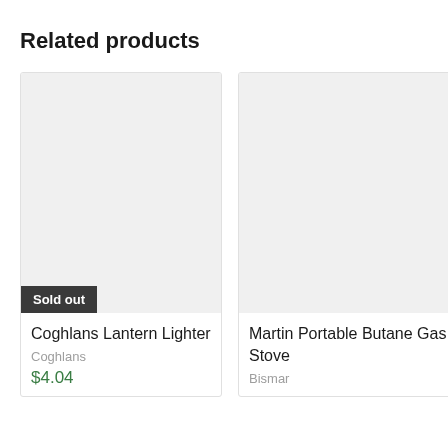Related products
[Figure (photo): Product card for Coghlans Lantern Lighter with a light gray placeholder image and a 'Sold out' badge at the bottom left]
Coghlans Lantern Lighter
Coghlans
$4.04
[Figure (photo): Product card for Martin Portable Butane Gas Stove with a light gray placeholder image, partially visible on the right]
Martin Portable Butane Gas Stove
Bismar